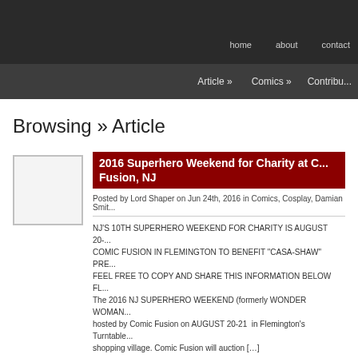home   about   contact
Article »   Comics »   Contribu...
Browsing » Article
2016 Superhero Weekend for Charity at C... Fusion, NJ
Posted by Lord Shaper on Jun 24th, 2016 in Comics, Cosplay, Damian Smit...
NJ'S 10TH SUPERHERO WEEKEND FOR CHARITY IS AUGUST 20-... COMIC FUSION IN FLEMINGTON TO BENEFIT "CASA-SHAW" PRE... FEEL FREE TO COPY AND SHARE THIS INFORMATION BELOW FL... The 2016 NJ SUPERHERO WEEKEND (formerly WONDER WOMAN... hosted by Comic Fusion on AUGUST 20-21  in Flemington's Turntable... shopping village. Comic Fusion will auction […]